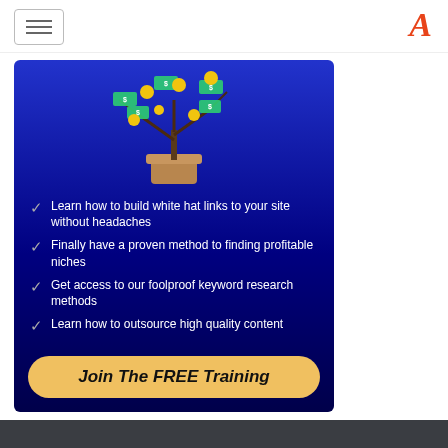Navigation header with hamburger menu and logo
[Figure (illustration): Money tree in a pot with dollar bills and gold coins on branches, on a dark blue background]
Learn how to build white hat links to your site without headaches
Finally have a proven method to finding profitable niches
Get access to our foolproof keyword research methods
Learn how to outsource high quality content
Join The FREE Training